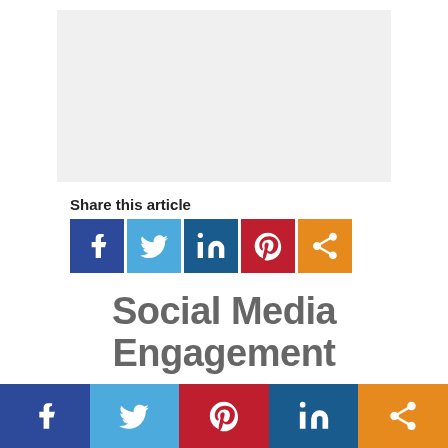[Figure (other): Gray placeholder image rectangle]
Share this article
[Figure (infographic): Social media share buttons: Facebook, Twitter, LinkedIn, Pinterest, Share]
Social Media Engagement
Social media for a business
[Figure (infographic): Bottom bar with social media icons: Facebook, Twitter, Pinterest, LinkedIn, Share]